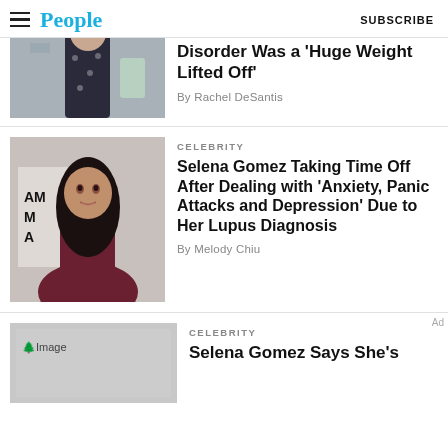People  SUBSCRIBE
[Figure (photo): Cropped photo of person in dark polka dot dress, partially visible]
Disorder Was a ‘Huge Weight Lifted Off’
By Rachel DeSantis
[Figure (photo): Photo of Selena Gomez at an AMAs event, wearing a maroon outfit with long dark hair]
CELEBRITY
Selena Gomez Taking Time Off After Dealing with ‘Anxiety, Panic Attacks and Depression’ Due to Her Lupus Diagnosis
By Melody Chiu
[Figure (photo): Image loading placeholder with tree icon]
CELEBRITY
Selena Gomez Says She’s